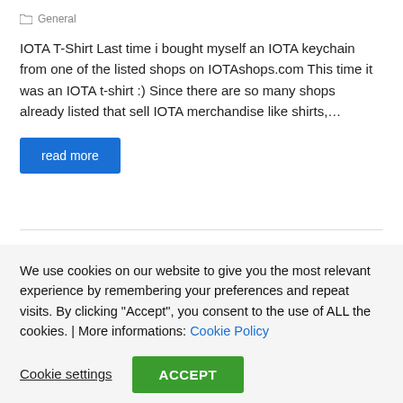General
IOTA T-Shirt Last time i bought myself an IOTA keychain from one of the listed shops on IOTAshops.com This time it was an IOTA t-shirt :) Since there are so many shops already listed that sell IOTA merchandise like shirts,…
read more
We use cookies on our website to give you the most relevant experience by remembering your preferences and repeat visits. By clicking "Accept", you consent to the use of ALL the cookies. | More informations: Cookie Policy
Cookie settings
ACCEPT